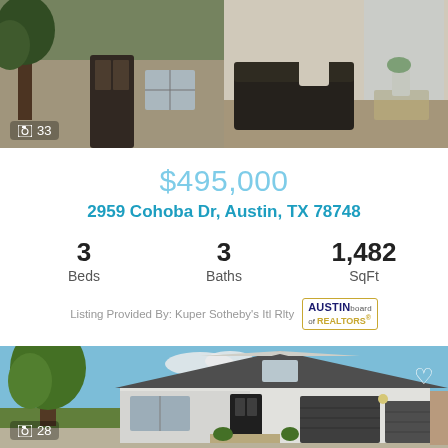[Figure (photo): Top-left: exterior stone facade and trees; Top-right: interior living room with dark sofa and plant]
📷 33
$495,000
2959 Cohoba Dr, Austin, TX 78748
3 Beds  3 Baths  1,482 SqFt
Listing Provided By: Kuper Sotheby's Itl Rlty
[Figure (photo): Exterior front view of single-story house with white facade, dark garage doors, large tree in yard]